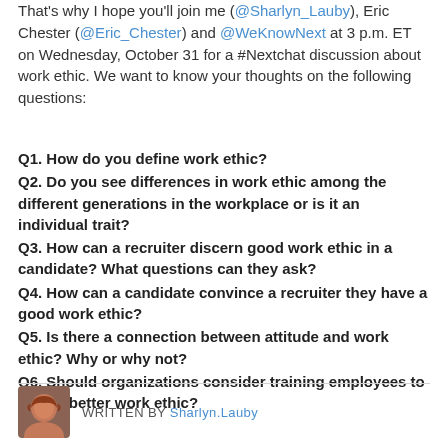That's why I hope you'll join me (@Sharlyn_Lauby), Eric Chester (@Eric_Chester) and @WeKnowNext at 3 p.m. ET on Wednesday, October 31 for a #Nextchat discussion about work ethic. We want to know your thoughts on the following questions:
Q1. How do you define work ethic?
Q2. Do you see differences in work ethic among the different generations in the workplace or is it an individual trait?
Q3. How can a recruiter discern good work ethic in a candidate? What questions can they ask?
Q4. How can a candidate convince a recruiter they have a good work ethic?
Q5. Is there a connection between attitude and work ethic? Why or why not?
Q6. Should organizations consider training employees to have a better work ethic?
WRITTEN BY Sharlyn.Lauby